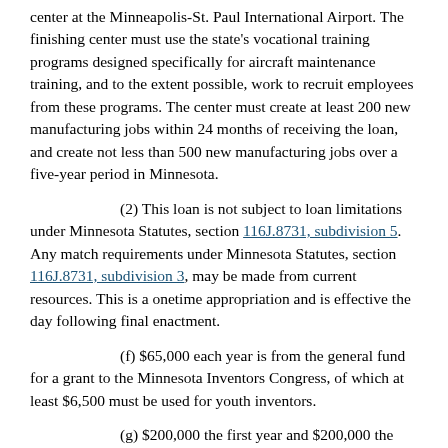center at the Minneapolis-St. Paul International Airport. The finishing center must use the state's vocational training programs designed specifically for aircraft maintenance training, and to the extent possible, work to recruit employees from these programs. The center must create at least 200 new manufacturing jobs within 24 months of receiving the loan, and create not less than 500 new manufacturing jobs over a five-year period in Minnesota.
(2) This loan is not subject to loan limitations under Minnesota Statutes, section 116J.8731, subdivision 5. Any match requirements under Minnesota Statutes, section 116J.8731, subdivision 3, may be made from current resources. This is a onetime appropriation and is effective the day following final enactment.
(f) $65,000 each year is from the general fund for a grant to the Minnesota Inventors Congress, of which at least $6,500 must be used for youth inventors.
(g) $200,000 the first year and $200,000 the second year are for the Office of Science and Technology. This is a onetime appropriation.
(h) $500,000 the first year and $500,000 the second